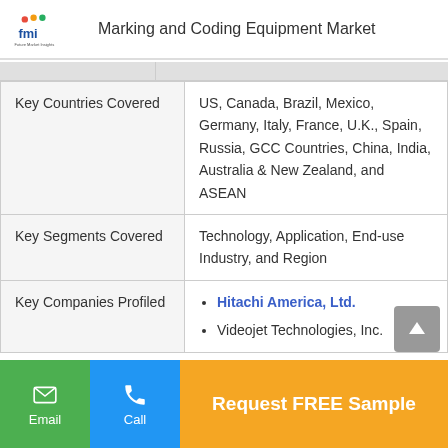Marking and Coding Equipment Market
|  |  |
| --- | --- |
| Key Countries Covered | US, Canada, Brazil, Mexico, Germany, Italy, France, U.K., Spain, Russia, GCC Countries, China, India, Australia & New Zealand, and ASEAN |
| Key Segments Covered | Technology, Application, End-use Industry, and Region |
| Key Companies Profiled | Hitachi America, Ltd.
Videojet Technologies, Inc. |